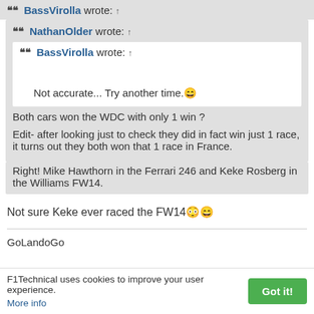BassVirolla wrote: ↑
NathanOlder wrote: ↑
BassVirolla wrote: ↑
Not accurate... Try another time. 😄
Both cars won the WDC with only 1 win ?
Edit- after looking just to check they did in fact win just 1 race, it turns out they both won that 1 race in France.
Right! Mike Hawthorn in the Ferrari 246 and Keke Rosberg in the Williams FW14.
Not sure Keke ever raced the FW14 😳😄
GoLandoGo
F1Technical uses cookies to improve your user experience. More info
Got it!